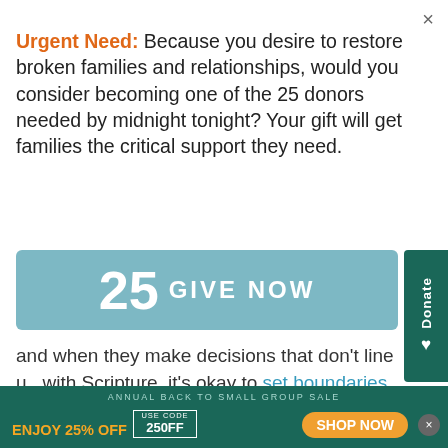×
Urgent Need: Because you desire to restore broken families and relationships, would you consider becoming one of the 25 donors needed by midnight tonight? Your gift will get families the critical support they need.
[Figure (other): Teal button with large number 25 and text GIVE NOW, with a dark teal Donate side tab]
and when they make decisions that don't line up with Scripture, it's okay to set boundaries with the amount of support you give them. Just remember to let your child know there is not a mistake they could make that will separate them from God's love (Romans 8:38-39)—or yours.
ANNUAL BACK TO SMALL GROUP SALE  ENJOY 25% OFF  USE CODE 250FF  SHOP NOW